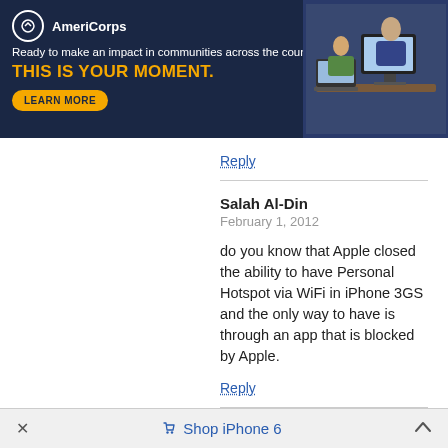[Figure (screenshot): AmeriCorps advertisement banner with dark navy background. Logo with white circle, text 'AmeriCorps'. Tagline: 'Ready to make an impact in communities across the country? THIS IS YOUR MOMENT.' with a yellow LEARN MORE button. Photo of students at computers on the right side.]
Reply
Salah Al-Din
February 1, 2012

do you know that Apple closed the ability to have Personal Hotspot via WiFi in iPhone 3GS and the only way to have is through an app that is blocked by Apple.

Reply
Scott Johnson
February 4, 2012

I jailbreak my itouch everytime a new ios comes out and have never had a problem… butthead. Let me guess that you have never jb a device and have no clue about the benefits.
× Shop iPhone 6 ^